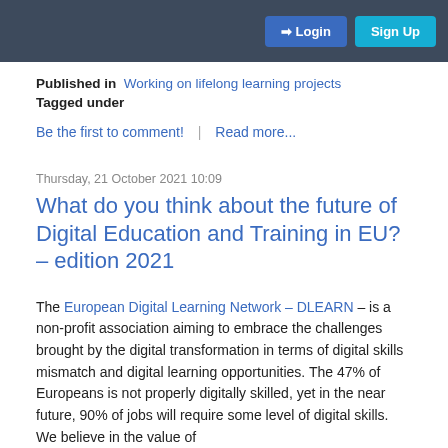Login  Sign Up
Published in  Working on lifelong learning projects
Tagged under
Be the first to comment!  |  Read more...
Thursday, 21 October 2021 10:09
What do you think about the future of Digital Education and Training in EU? – edition 2021
The European Digital Learning Network – DLEARN – is a non-profit association aiming to embrace the challenges brought by the digital transformation in terms of digital skills mismatch and digital learning opportunities. The 47% of Europeans is not properly digitally skilled, yet in the near future, 90% of jobs will require some level of digital skills. We believe in the value of